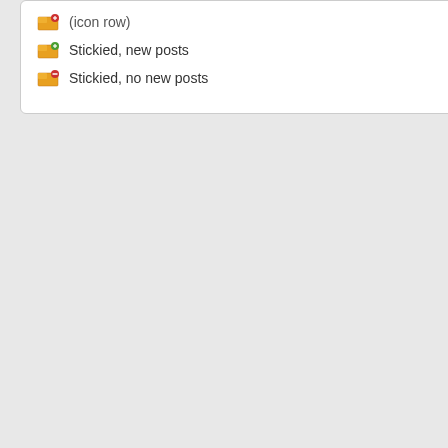Stickied, new posts
Stickied, no new posts
William Be
Matilda Be
(And seve
I'm looking appear.
Looks like
Matilda Be
in the 187
Name: Ma
Age: 40
Estimated
Relation:
Gender: F
Where bo
Civil Paris
Ecclesiastc
Town: Fro
County/Is
Country: E